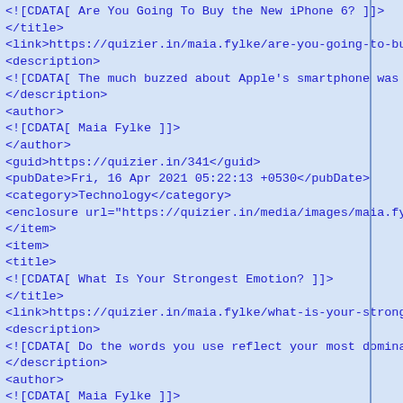[Figure (screenshot): Screenshot of XML/RSS feed source code displayed in a browser or text editor. The code shows two RSS feed items with fields including title, link, description, author, guid, pubDate, category, and enclosure. The text is rendered in blue monospace font on a light blue background. A vertical scrollbar divider appears on the right side.]